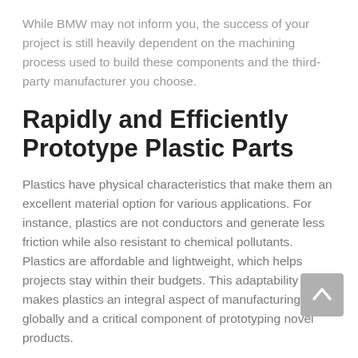While BMW may not inform you, the success of your project is still heavily dependent on the machining process used to build these components and the third-party manufacturer you choose.
Rapidly and Efficiently Prototype Plastic Parts
Plastics have physical characteristics that make them an excellent material option for various applications. For instance, plastics are not conductors and generate less friction while also resistant to chemical pollutants. Plastics are affordable and lightweight, which helps projects stay within their budgets. This adaptability makes plastics an integral aspect of manufacturing globally and a critical component of prototyping novel products.